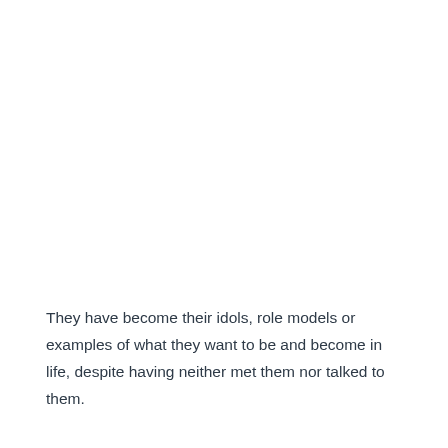They have become their idols, role models or examples of what they want to be and become in life, despite having neither met them nor talked to them.